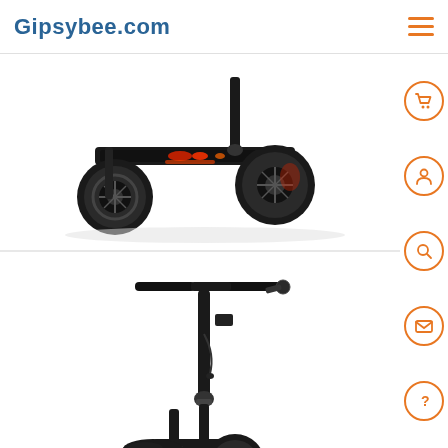Gipsybee.com
[Figure (photo): Close-up photo of an electric scooter deck and rear wheel area, showing red LED lights on the deck and hub motor on the rear wheel, white background]
[Figure (photo): Full view of an electric scooter with handlebars, stem, and a black saddle seat attached, standing upright on white background]